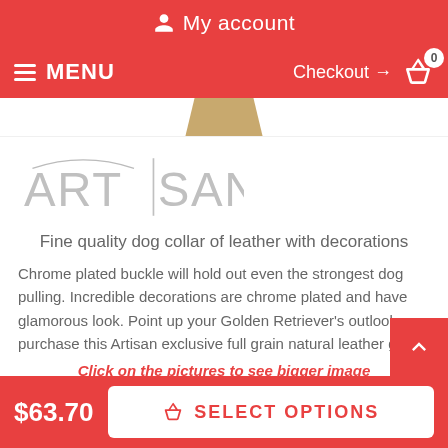My account
MENU   Checkout → 0
[Figure (logo): Artisan brand logo in light gray text with a vertical bar between ART and SAN]
Fine quality dog collar of leather with decorations
Chrome plated buckle will hold out even the strongest dog pulling. Incredible decorations are chrome plated and have glamorous look. Point up your Golden Retriever's outlook, purchase this Artisan exclusive full grain natural leather gear!
Click on the pictures to see bigger image
$63.70   SELECT OPTIONS